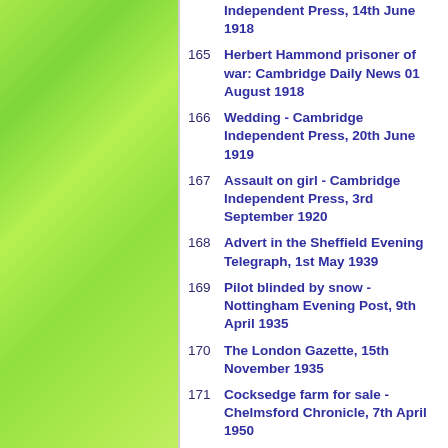Independent Press, 14th June 1918
165  Herbert Hammond prisoner of war: Cambridge Daily News 01 August 1918
166  Wedding - Cambridge Independent Press, 20th June 1919
167  Assault on girl - Cambridge Independent Press, 3rd September 1920
168  Advert in the Sheffield Evening Telegraph, 1st May 1939
169  Pilot blinded by snow - Nottingham Evening Post, 9th April 1935
170  The London Gazette, 15th November 1935
171  Cocksedge farm for sale - Chelmsford Chronicle, 7th April 1950
172  Accident on icy road - Bury Free Press, 25th February 1955